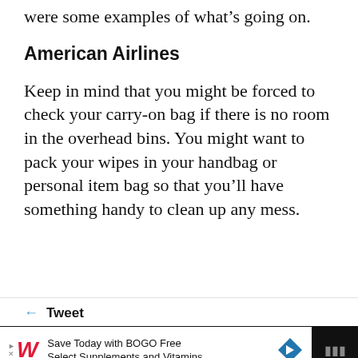were some examples of what's going on.
American Airlines
Keep in mind that you might be forced to check your carry-on bag if there is no room in the overhead bins. You might want to pack your wipes in your handbag or personal item bag so that you'll have something handy to clean up any mess.
Tweet
[Figure (screenshot): Walgreens advertisement bar: Save Today with BOGO Free Select Supplements and Vitamins]